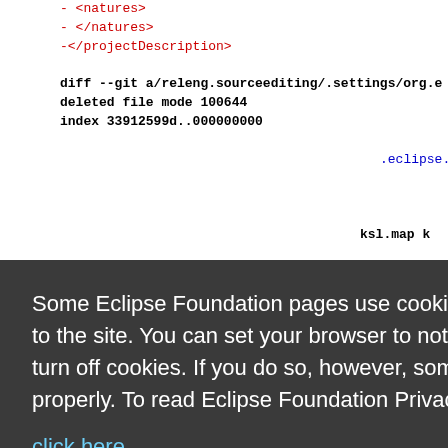-        <natures>
-        </natures>
-</projectDescription>

diff --git a/releng.sourceediting/.settings/org.e
deleted file mode 100644
index 33912599d..000000000
                                          .eclipse.

                              ksl.map k

                              ase
                              eloped an

-plugin@org.eclipse.wst.xsl.exslt.core-v20100912
Some Eclipse Foundation pages use cookies to better serve you when you return to the site. You can set your browser to notify you before you receive a cookie or turn off cookies. If you do so, however, some areas of some sites may not function properly. To read Eclipse Foundation Privacy Policy click here.